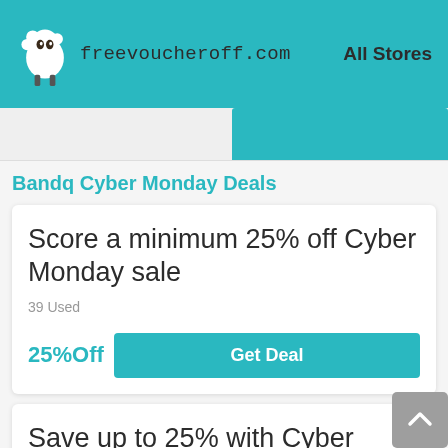freevoucheroff.com — All Stores
Bandq Cyber Monday Deals
Score a minimum 25% off Cyber Monday sale
39 Used
25%Off  Get Deal
Save up to 25% with Cyber Monday deals